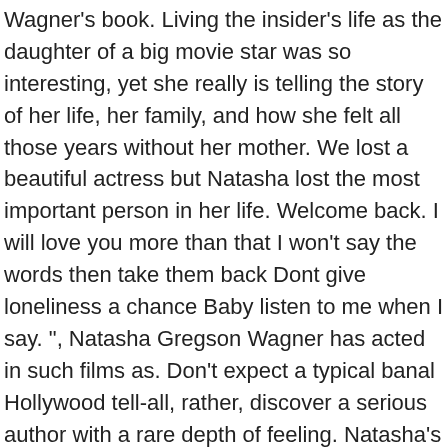Wagner's book. Living the insider's life as the daughter of a big movie star was so interesting, yet she really is telling the story of her life, her family, and how she felt all those years without her mother. We lost a beautiful actress but Natasha lost the most important person in her life. Welcome back. I will love you more than that I won't say the words then take them back Dont give loneliness a chance Baby listen to me when I say. ", Natasha Gregson Wagner has acted in such films as. Don't expect a typical banal Hollywood tell-all, rather, discover a serious author with a rare depth of feeling. Natasha's mother, Natalie Wood, drowned on a boat at the age of 43. More Than Love: An Intimate Portrait of My Mother, Natalie Wood. She has been the subject of many books and magazine articles over my lifetime, and her suspicious death in 1981, only added